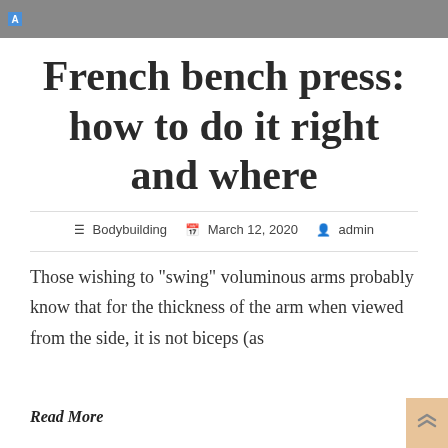[Figure (photo): Grayscale photo strip of gym/barbell equipment at the top of the page with a small blue 'A' label badge]
French bench press: how to do it right and where
Bodybuilding   March 12, 2020   admin
Those wishing to "swing" voluminous arms probably know that for the thickness of the arm when viewed from the side, it is not biceps (as
Read More